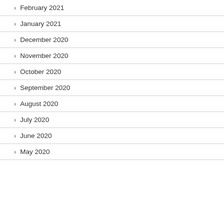February 2021
January 2021
December 2020
November 2020
October 2020
September 2020
August 2020
July 2020
June 2020
May 2020